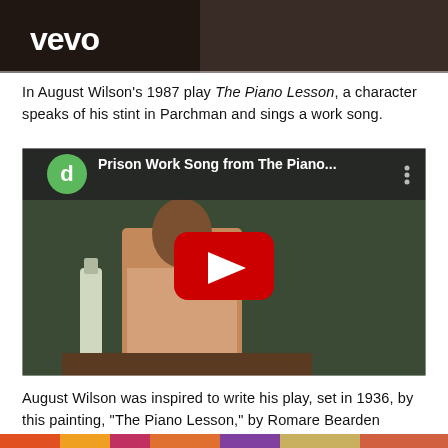[Figure (screenshot): Top portion of a Vevo music video thumbnail showing 'vevo' logo in white text on a dark background with people visible]
In August Wilson’s 1987 play The Piano Lesson, a character speaks of his stint in Parchman and sings a work song.
[Figure (screenshot): YouTube video thumbnail for 'Prison Work Song from The Piano...' featuring a green circle with letter 'd', video title, three-dot menu, and a red play button overlay on an image of a man sitting at a table with a bottle nearby]
August Wilson was inspired to write his play, set in 1936, by this painting, “The Piano Lesson,” by Romare Bearden (1911-1988).
[Figure (photo): Bottom strip of a colorful painting partially visible at the bottom of the page]